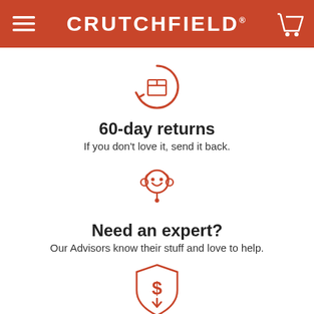CRUTCHFIELD
[Figure (illustration): Orange circle with an arrow looping around a box/package icon, representing returns]
60-day returns
If you don't love it, send it back.
[Figure (illustration): Orange headset with a smiley face icon, representing customer support advisor]
Need an expert?
Our Advisors know their stuff and love to help.
[Figure (illustration): Orange shield icon with a dollar sign and downward arrow, representing price protection]
60-day price protection